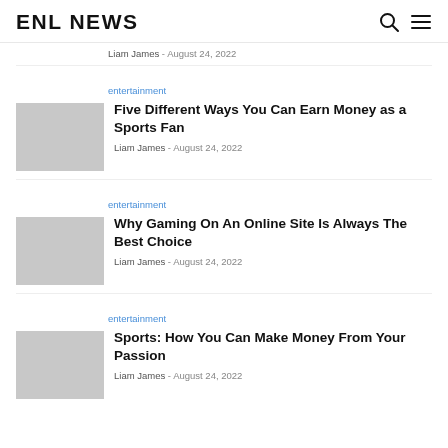ENL NEWS
Liam James - August 24, 2022
entertainment
Five Different Ways You Can Earn Money as a Sports Fan
Liam James - August 24, 2022
entertainment
Why Gaming On An Online Site Is Always The Best Choice
Liam James - August 24, 2022
entertainment
Sports: How You Can Make Money From Your Passion
Liam James - August 24, 2022